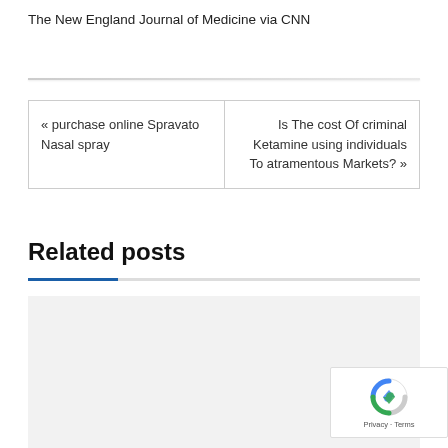The New England Journal of Medicine via CNN
« purchase online Spravato Nasal spray
Is The cost Of criminal Ketamine using individuals To atramentous Markets? »
Related posts
[Figure (other): Related post card placeholder with light gray background, partially visible title text at bottom]